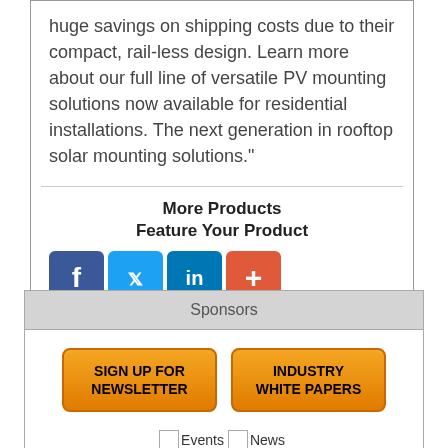huge savings on shipping costs due to their compact, rail-less design. Learn more about our full line of versatile PV mounting solutions now available for residential installations. The next generation in rooftop solar mounting solutions."
More Products
Feature Your Product
[Figure (infographic): Social media icons: Facebook (blue), Twitter (blue), LinkedIn (blue), plus/share button (orange-red)]
Sponsors
[Figure (infographic): Two orange buttons: 'SIGN UP FOR NEWSLETTER' and 'INDUSTRY WHITE PAPERS']
[Figure (infographic): Two icon links labeled 'Events' and 'News' with small placeholder images]